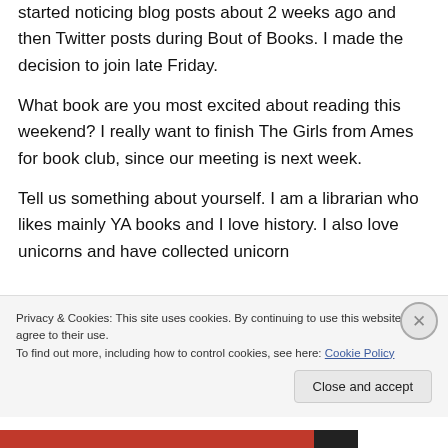started noticing blog posts about 2 weeks ago and then Twitter posts during Bout of Books. I made the decision to join late Friday.
What book are you most excited about reading this weekend? I really want to finish The Girls from Ames for book club, since our meeting is next week.
Tell us something about yourself. I am a librarian who likes mainly YA books and I love history. I also love unicorns and have collected unicorn
Privacy & Cookies: This site uses cookies. By continuing to use this website, you agree to their use.
To find out more, including how to control cookies, see here: Cookie Policy
Close and accept